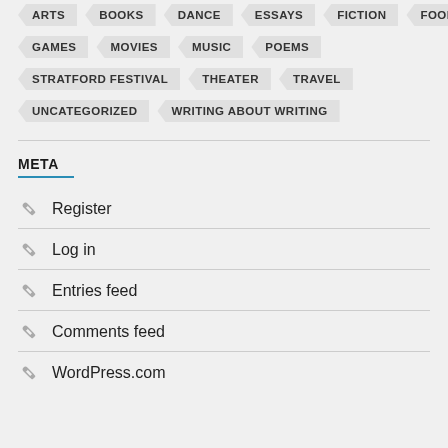ARTS BOOKS DANCE ESSAYS FICTION FOOD
GAMES MOVIES MUSIC POEMS
STRATFORD FESTIVAL THEATER TRAVEL
UNCATEGORIZED WRITING ABOUT WRITING
META
Register
Log in
Entries feed
Comments feed
WordPress.com